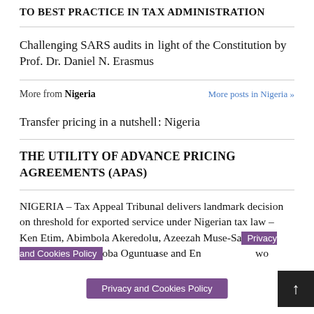TO BEST PRACTICE IN TAX ADMINISTRATION
Challenging SARS audits in light of the Constitution by Prof. Dr. Daniel N. Erasmus
More from Nigeria
More posts in Nigeria »
Transfer pricing in a nutshell: Nigeria
THE UTILITY OF ADVANCE PRICING AGREEMENTS (APAs)
NIGERIA – Tax Appeal Tribunal delivers landmark decision on threshold for exported service under Nigerian tax law – Ken Etim, Abimbola Akeredolu, Azeezah Muse-Sa[...] oba Oguntuase and En[...] wo